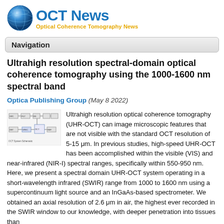[Figure (logo): OCT News logo with blue globe icon and text 'OCT News' in blue and subtitle 'Optical Coherence Tomography News' in orange/gold]
Navigation
Ultrahigh resolution spectral-domain optical coherence tomography using the 1000-1600 nm spectral band
Optica Publishing Group (May 8 2022)
[Figure (schematic): Small thumbnail schematic diagram of an OCT system setup]
Ultrahigh resolution optical coherence tomography (UHR-OCT) can image microscopic features that are not visible with the standard OCT resolution of 5-15 μm. In previous studies, high-speed UHR-OCT has been accomplished within the visible (VIS) and near-infrared (NIR-I) spectral ranges, specifically within 550-950 nm. Here, we present a spectral domain UHR-OCT system operating in a short-wavelength infrared (SWIR) range from 1000 to 1600 nm using a supercontinuum light source and an InGaAs-based spectrometer. We obtained an axial resolution of 2.6 μm in air, the highest ever recorded in the SWIR window to our knowledge, with deeper penetration into tissues than